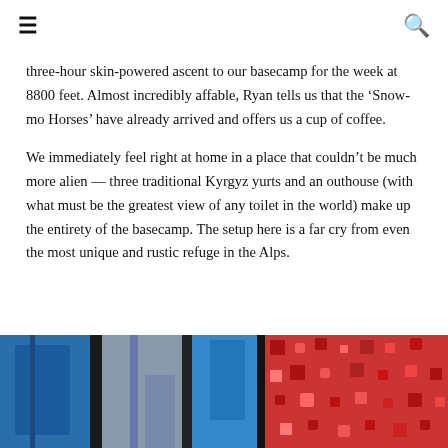≡  🔍
three-hour skin-powered ascent to our basecamp for the week at 8800 feet. Almost incredibly affable, Ryan tells us that the 'Snow-mo Horses' have already arrived and offers us a cup of coffee.
We immediately feel right at home in a place that couldn't be much more alien — three traditional Kyrgyz yurts and an outhouse (with what must be the greatest view of any toilet in the world) make up the entirety of the basecamp. The setup here is a far cry from even the most unique and rustic refuge in the Alps.
[Figure (photo): Photo of colorful clothing and fabric items hanging or laid out, featuring blue jackets/garments, grey pants, red patterned fabric with traditional designs, taken inside what appears to be a yurt or similar structure.]